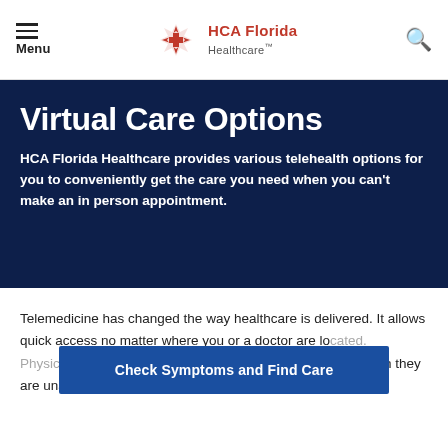Menu | HCA Florida Healthcare
Virtual Care Options
HCA Florida Healthcare provides various telehealth options for you to conveniently get the care you need when you can't make an in person appointment.
Telemedicine has changed the way healthcare is delivered. It allows quick access no matter where you or a doctor are lo... evaluate, diagnose and treat a person they are unable to see in person via online video call.
Check Symptoms and Find Care